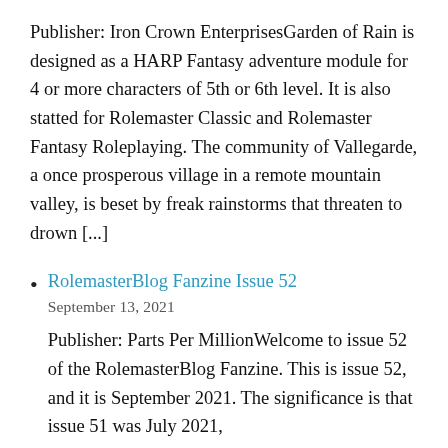Publisher: Iron Crown EnterprisesGarden of Rain is designed as a HARP Fantasy adventure module for 4 or more characters of 5th or 6th level. It is also statted for Rolemaster Classic and Rolemaster Fantasy Roleplaying. The community of Vallegarde, a once prosperous village in a remote mountain valley, is beset by freak rainstorms that threaten to drown [...]
RolemasterBlog Fanzine Issue 52
September 13, 2021
Publisher: Parts Per MillionWelcome to issue 52 of the RolemasterBlog Fanzine. This is issue 52, and it is September 2021. The significance is that issue 51 was July 2021,